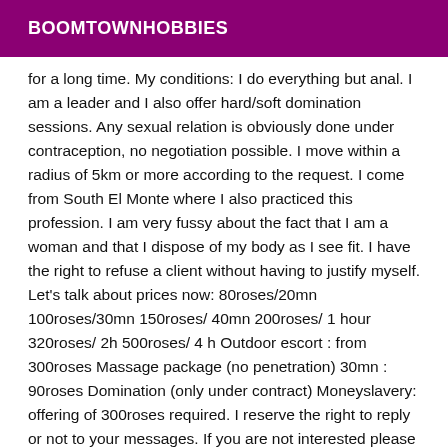BOOMTOWNHOBBIES
for a long time. My conditions: I do everything but anal. I am a leader and I also offer hard/soft domination sessions. Any sexual relation is obviously done under contraception, no negotiation possible. I move within a radius of 5km or more according to the request. I come from South El Monte where I also practiced this profession. I am very fussy about the fact that I am a woman and that I dispose of my body as I see fit. I have the right to refuse a client without having to justify myself. Let's talk about prices now: 80roses/20mn 100roses/30mn 150roses/ 40mn 200roses/ 1 hour 320roses/ 2h 500roses/ 4 h Outdoor escort : from 300roses Massage package (no penetration) 30mn : 90roses Domination (only under contract) Moneyslavery: offering of 300roses required. I reserve the right to reply or not to your messages. If you are not interested please do not waste my time. If you are not interested please leave the place to those who are and do not follow up